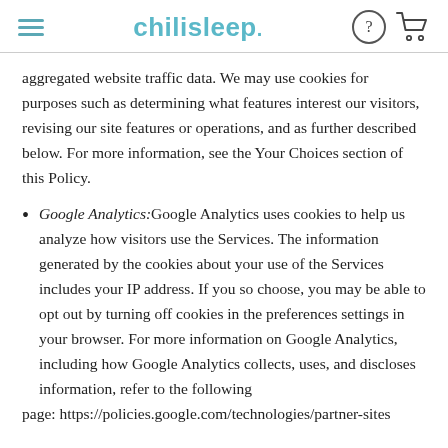chilisleep
aggregated website traffic data. We may use cookies for purposes such as determining what features interest our visitors, revising our site features or operations, and as further described below. For more information, see the Your Choices section of this Policy.
Google Analytics: Google Analytics uses cookies to help us analyze how visitors use the Services. The information generated by the cookies about your use of the Services includes your IP address. If you so choose, you may be able to opt out by turning off cookies in the preferences settings in your browser. For more information on Google Analytics, including how Google Analytics collects, uses, and discloses information, refer to the following
page: https://policies.google.com/technologies/partner-sites